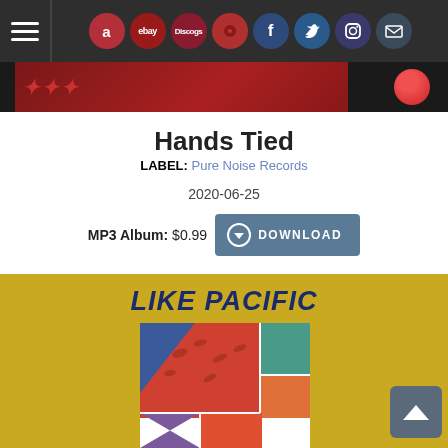Navigation bar with hamburger menu and social/store icons: Amazon, eBay, Discogs, vinyl icon, Facebook, Twitter, Instagram, Mail
[Figure (screenshot): Partial banner showing album art strip in dark red tones]
Hands Tied
LABEL: Pure Noise Records
2020-06-25
MP3 Album: $0.99  DOWNLOAD
[Figure (illustration): Yellow background album section showing 'LIKE PACIFIC' text in bold navy italic and partial album art mosaic with colorful geometric sections in blue, red/orange, teal, purple, orange]